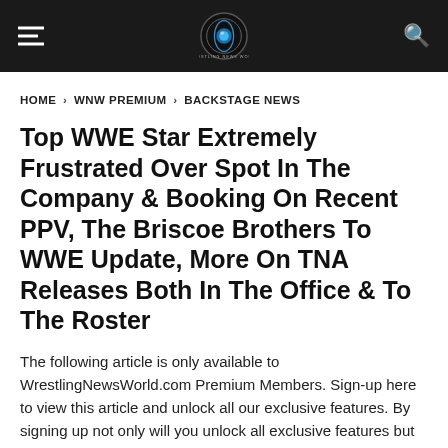Wrestling News World
HOME > WNW PREMIUM > BACKSTAGE NEWS
Top WWE Star Extremely Frustrated Over Spot In The Company & Booking On Recent PPV, The Briscoe Brothers To WWE Update, More On TNA Releases Both In The Office & To The Roster
The following article is only available to WrestlingNewsWorld.com Premium Members. Sign-up here to view this article and unlock all our exclusive features. By signing up not only will you unlock all exclusive features but the website is also 100% advertisement free!
RICHARD GRAY · UPDATED: JUL 21, 2018 · ORIGINAL: JUL 7, 2013